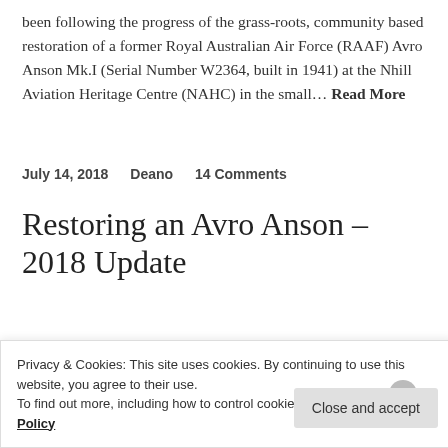been following the progress of the grass-roots, community based restoration of a former Royal Australian Air Force (RAAF) Avro Anson Mk.I (Serial Number W2364, built in 1941) at the Nhill Aviation Heritage Centre (NAHC) in the small… Read More
July 14, 2018    Deano    14 Comments
Restoring an Avro Anson – 2018 Update
Privacy & Cookies: This site uses cookies. By continuing to use this website, you agree to their use.
To find out more, including how to control cookies, see here: Cookie Policy